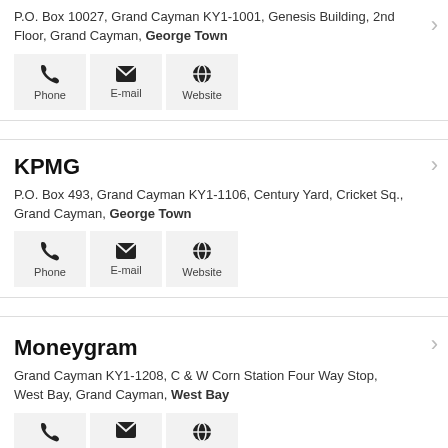P.O. Box 10027, Grand Cayman KY1-1001, Genesis Building, 2nd Floor, Grand Cayman, George Town
Phone | E-mail | Website
KPMG
P.O. Box 493, Grand Cayman KY1-1106, Century Yard, Cricket Sq., Grand Cayman, George Town
Phone | E-mail | Website
Moneygram
Grand Cayman KY1-1208, C & W Corn Station Four Way Stop, West Bay, Grand Cayman, West Bay
Phone | E-mail | Website (partial)